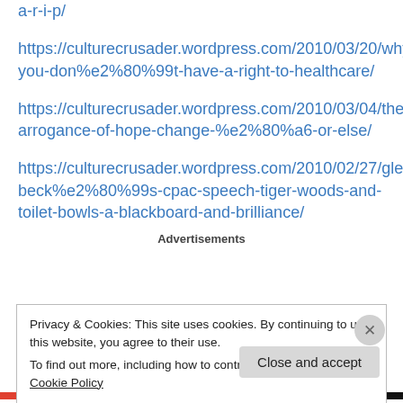a-r-i-p/
https://culturecrusader.wordpress.com/2010/03/20/why-you-don%e2%80%99t-have-a-right-to-healthcare/
https://culturecrusader.wordpress.com/2010/03/04/the-arrogance-of-hope-change-%e2%80%a6-or-else/
https://culturecrusader.wordpress.com/2010/02/27/glenn-beck%e2%80%99s-cpac-speech-tiger-woods-and-toilet-bowls-a-blackboard-and-brilliance/
Advertisements
Privacy & Cookies: This site uses cookies. By continuing to use this website, you agree to their use.
To find out more, including how to control cookies, see here: Cookie Policy
Close and accept